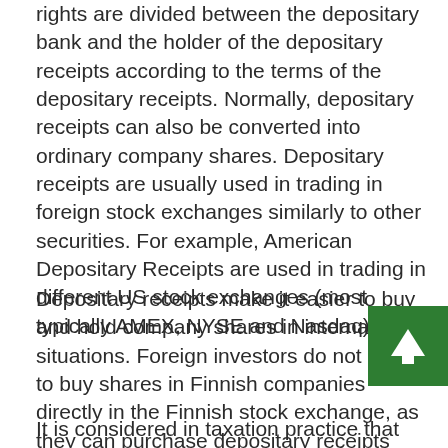rights are divided between the depositary bank and the holder of the depositary receipts according to the terms of the depositary receipts. Normally, depositary receipts can also be converted into ordinary company shares. Depositary receipts are usually used in trading in foreign stock exchanges similarly to other securities. For example, American Depositary Receipts are used in trading in different US stock exchanges (most typically AMEX, NYSE and Nasdaq).
Depositary receipts make it easier to buy and hold company shares in international situations. Foreign investors do not need to buy shares in Finnish companies directly in the Finnish stock exchange, as they can purchase depositary receipts that are provided by banks and represent shares in Finnish companies in their home country's stock exchange in their own currency. Depositary banks pay the income received from shares, such as dividends, to holders of depositary receipts.
It is considered in taxation practice that holders of